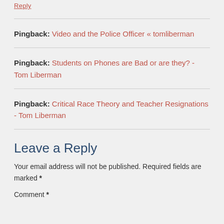Reply
Pingback: Video and the Police Officer « tomliberman
Pingback: Students on Phones are Bad or are they? - Tom Liberman
Pingback: Critical Race Theory and Teacher Resignations - Tom Liberman
Leave a Reply
Your email address will not be published. Required fields are marked *
Comment *